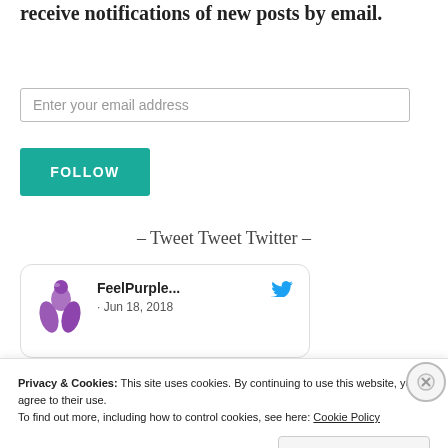receive notifications of new posts by email.
Enter your email address
FOLLOW
– Tweet Tweet Twitter –
[Figure (screenshot): Twitter card showing FeelPurple... account, Jun 18, 2018, with purple logo and Twitter bird icon]
Privacy & Cookies: This site uses cookies. By continuing to use this website, you agree to their use.
To find out more, including how to control cookies, see here: Cookie Policy
Close and accept